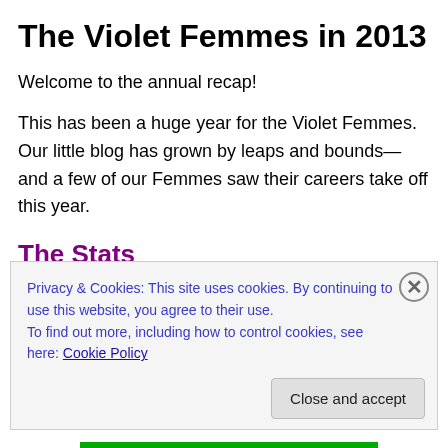The Violet Femmes in 2013
Welcome to the annual recap!
This has been a huge year for the Violet Femmes. Our little blog has grown by leaps and bounds—and a few of our Femmes saw their careers take off this year.
The Stats
Our biggest month, visitor-wise, was July, followed very
Privacy & Cookies: This site uses cookies. By continuing to use this website, you agree to their use.
To find out more, including how to control cookies, see here: Cookie Policy
Close and accept